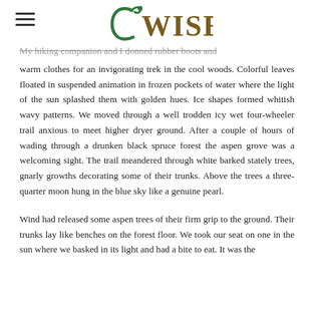WISE
My hiking companion and I donned rubber boots and warm clothes for an invigorating trek in the cool woods. Colorful leaves floated in suspended animation in frozen pockets of water where the light of the sun splashed them with golden hues. Ice shapes formed whitish wavy patterns. We moved through a well trodden icy wet four-wheeler trail anxious to meet higher dryer ground. After a couple of hours of wading through a drunken black spruce forest the aspen grove was a welcoming sight. The trail meandered through white barked stately trees, gnarly growths decorating some of their trunks. Above the trees a three-quarter moon hung in the blue sky like a genuine pearl.
Wind had released some aspen trees of their firm grip to the ground. Their trunks lay like benches on the forest floor. We took our seat on one in the sun where we basked in its light and had a bite to eat. It was the